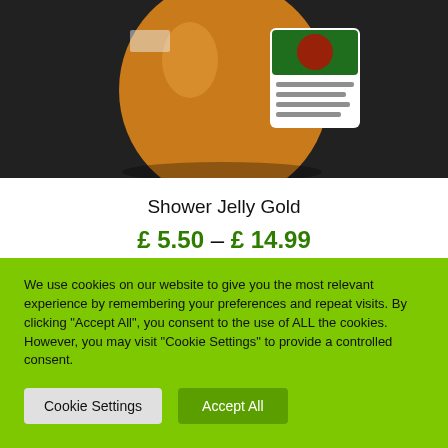[Figure (photo): Close-up photo of a jar of Shower Jelly Gold product with a green and red label, sitting on a dark textured surface.]
Shower Jelly Gold
£ 5.50 – £ 14.99
We use cookies on our website to give you the most relevant experience by remembering your preferences and repeat visits. By clicking "Accept All", you consent to the use of ALL the cookies. However, you may visit "Cookie Settings" to provide a controlled consent.
Cookie Settings | Accept All